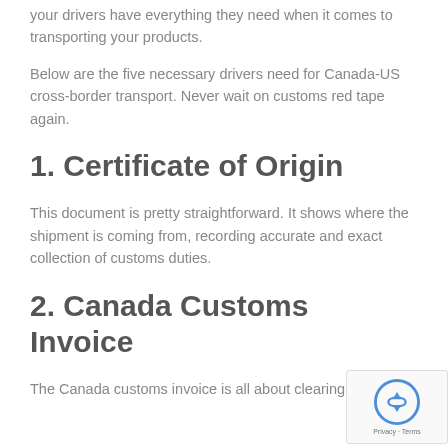your drivers have everything they need when it comes to transporting your products.
Below are the five necessary drivers need for Canada-US cross-border transport. Never wait on customs red tape again.
1. Certificate of Origin
This document is pretty straightforward. It shows where the shipment is coming from, recording accurate and exact collection of customs duties.
2. Canada Customs Invoice
The Canada customs invoice is all about clearing